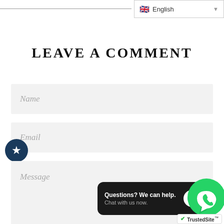[Figure (screenshot): Language selector dropdown showing UK flag and 'English' text with dropdown arrow]
LEAVE A COMMENT
[Figure (screenshot): Name input field with italic placeholder text 'Name']
[Figure (screenshot): Email input field with italic placeholder text 'Email']
[Figure (screenshot): Circular dark blue button with white star icon]
[Figure (screenshot): Message textarea with italic placeholder text 'Message' and resize handle]
[Figure (screenshot): Chat widget with dark background showing 'Questions? We can help.' and 'Chat with us now.' text with blue chat bubble icon]
[Figure (screenshot): WhatsApp green circle button with phone icon]
[Figure (screenshot): TrustedSite badge with green checkmark]